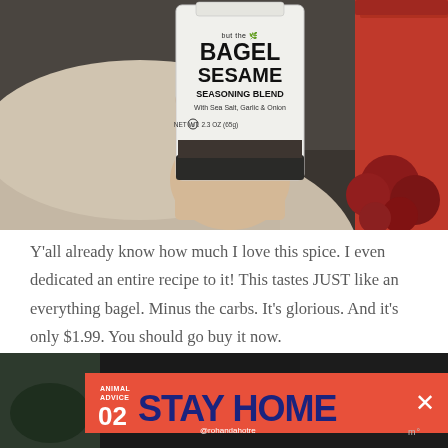[Figure (photo): A hand holding a bottle of 'but the BAGEL SESAME SEASONING BLEND With Sea Salt, Garlic & Onion, NET WT. 2.3 OZ (65g)' at a grocery store or market, with a red basket of potatoes visible in the background.]
Y'all already know how much I love this spice. I even dedicated an entire recipe to it! This tastes JUST like an everything bagel. Minus the carbs. It's glorious. And it's only $1.99. You should go buy it now.
[Figure (screenshot): Bottom portion of another photo (dark background) with an advertisement overlay banner in red/orange reading 'ANIMAL ADVICE 02 STAY HOME @rohandahotre' with a close button and an X icon, plus a gaming/streaming interface element on the right.]